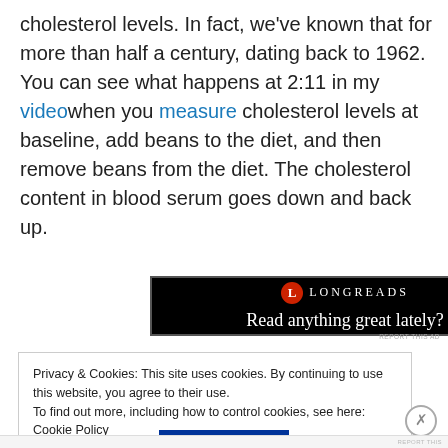cholesterol levels. In fact, we've known that for more than half a century, dating back to 1962. You can see what happens at 2:11 in my video when you measure cholesterol levels at baseline, add beans to the diet, and then remove beans from the diet. The cholesterol content in blood serum goes down and back up.
[Figure (screenshot): Longreads advertisement banner with black background showing logo and tagline 'Read anything great lately?']
REPORT THIS AD
Privacy & Cookies: This site uses cookies. By continuing to use this website, you agree to their use.
To find out more, including how to control cookies, see here: Cookie Policy